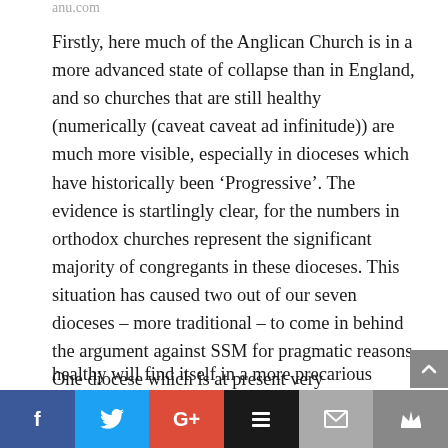anu.com
Firstly, here much of the Anglican Church is in a more advanced state of collapse than in England, and so churches that are still healthy (numerically (caveat caveat ad infinitude)) are much more visible, especially in dioceses which have historically been ‘Progressive’. The evidence is startlingly clear, for the numbers in orthodox churches represent the significant majority of congregants in these dioceses. This situation has caused two out of our seven dioceses – more traditional – to come in behind the argument against SSM for pragmatic reasons. One diocese which is at present very healthy will find itself in a more precarious
f  [twitter]  G+  [buffer]  [mail]  [crown]